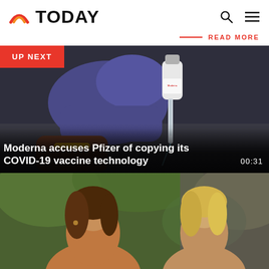TODAY
READ MORE
[Figure (photo): UP NEXT badge overlay on a dark background]
[Figure (photo): Close-up of a gloved hand holding a COVID-19 vaccine vial with a syringe, dark background]
Moderna accuses Pfizer of copying its COVID-19 vaccine technology
00:31
[Figure (photo): Two women with brown and blonde hair talking outdoors with green foliage in background]